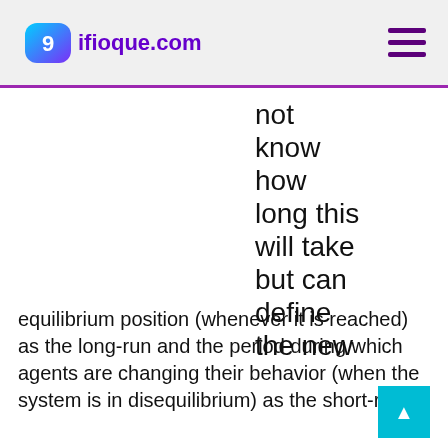9ifioque.com
not know how long this will take but can define the new
equilibrium position (whenever it is reached) as the long-run and the period during which agents are changing their behavior (when the system is in disequilibrium) as the short-run.
Since, in our simplified model, a new